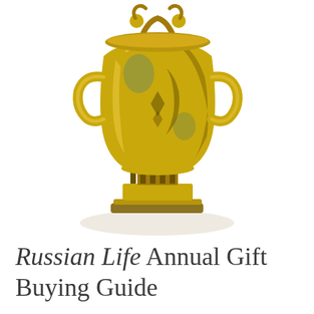[Figure (illustration): A golden ornate trophy/samovar-style urn with handles, decorative base, and a shadow beneath it, photographed against a white background.]
Russian Life Annual Gift Buying Guide